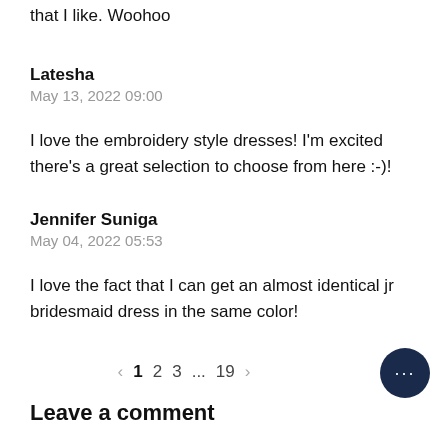that I like. Woohoo
Latesha
May 13, 2022 09:00
I love the embroidery style dresses! I'm excited there's a great selection to choose from here :-)!
Jennifer Suniga
May 04, 2022 05:53
I love the fact that I can get an almost identical jr bridesmaid dress in the same color!
< 1 2 3 ... 19 >
Leave a comment